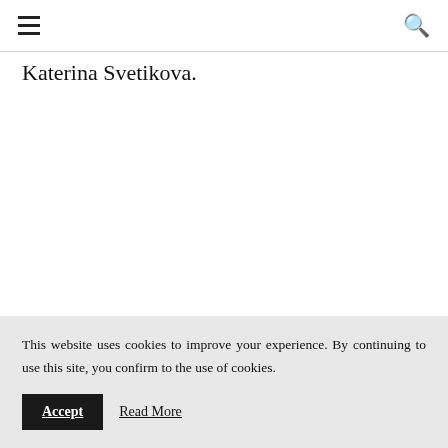≡  🔍
Katerina Svetikova.
This website uses cookies to improve your experience. By continuing to use this site, you confirm to the use of cookies.
Accept   Read More